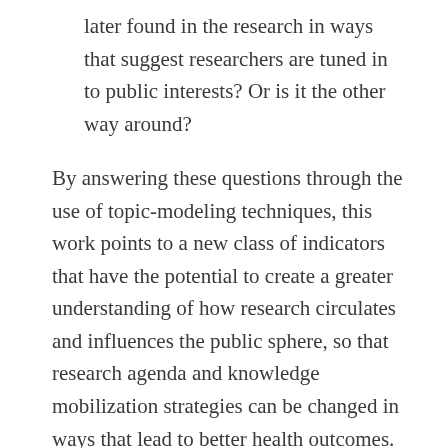later found in the research in ways that suggest researchers are tuned in to public interests? Or is it the other way around?
By answering these questions through the use of topic-modeling techniques, this work points to a new class of indicators that have the potential to create a greater understanding of how research circulates and influences the public sphere, so that research agenda and knowledge mobilization strategies can be changed in ways that lead to better health outcomes.
Methods
Three types of data—forum discussions, Wikipedia edits, and research articles—were derived from three